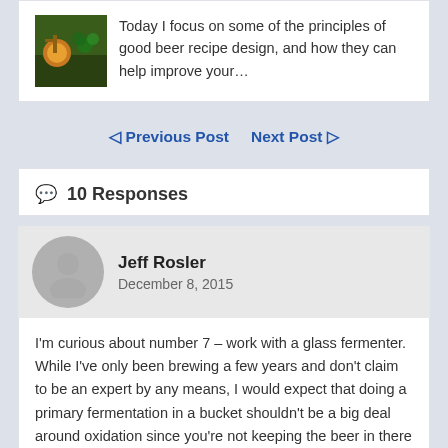[Figure (photo): Thumbnail image of beer/brewing scene with warm lighting]
Today I focus on some of the principles of good beer recipe design, and how they can help improve your…
◁ Previous Post   Next Post ▷
💬 10 Responses
Jeff Rosler
December 8, 2015
I'm curious about number 7 – work with a glass fermenter. While I've only been brewing a few years and don't claim to be an expert by any means, I would expect that doing a primary fermentation in a bucket shouldn't be a big deal around oxidation since you're not keeping the beer in there very long. Also, I've been using better bottle carboys